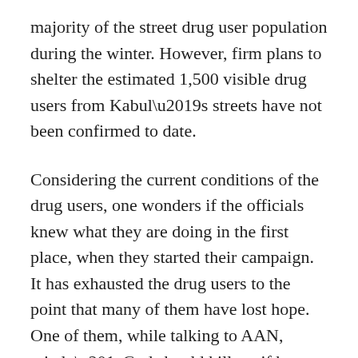majority of the street drug user population during the winter. However, firm plans to shelter the estimated 1,500 visible drug users from Kabul's streets have not been confirmed to date.
Considering the current conditions of the drug users, one wonders if the officials knew what they are doing in the first place, when they started their campaign. It has exhausted the drug users to the point that many of them have lost hope. One of them, while talking to AAN, cried: “God should kill us, if he cannot save us.”